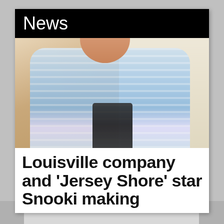News
[Figure (photo): A smiling middle-aged man in a blue and white striped polo shirt, standing in an interior hallway or room with light-colored walls. Another person with dark hair is partially visible in front of him.]
Louisville company and 'Jersey Shore' star Snooki making